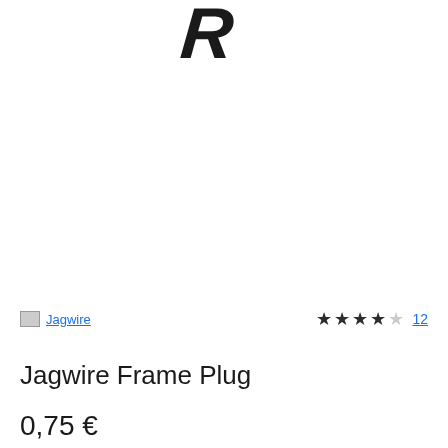[Figure (logo): Partial logo with stylized letter R in bold black italic]
Jagwire
★★★★☆ 12
Jagwire Frame Plug
0,75 €